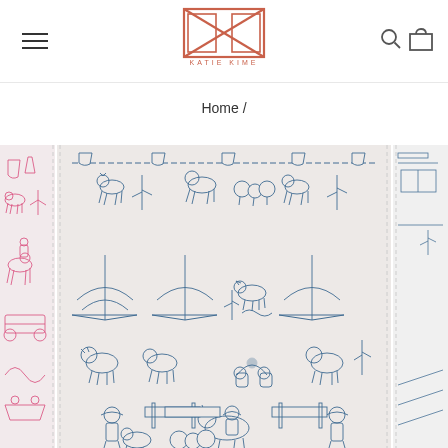[Figure (logo): Katie Kime brand logo - geometric K initial mark in coral/salmon color with text KATIE KIME below]
Home /
[Figure (photo): Left partial product image showing pink/magenta toile pattern with western scenes]
[Figure (photo): Center product image showing blue and white toile wallpaper/fabric with western/ranch scenes including teepees, cowboys, horses, cattle, cacti]
[Figure (photo): Right partial product image showing blue western toile pattern]